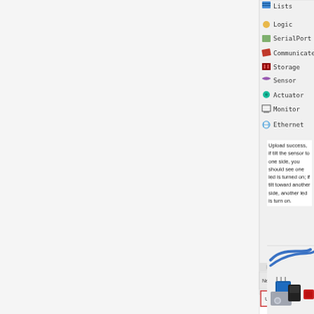[Figure (screenshot): Screenshot of a block-based programming IDE showing a toolbox with categories (Lists, Logic, SerialPort, Communicate, Storage, Sensor, Actuator, Monitor, Ethernet) on the left, and a visual program on a green canvas on the right with a Tilt Module block, if-else structure controlling red_LED and green_LED pins. Bottom toolbar shows New, Open, Save, Save as, Export, Import, Manage, Compile, Upload buttons. An 'Upload success!' message box is displayed at the bottom.]
Upload success, if tilt the sensor to one side, you should see one led is turned on; if tilt toward another side, another led is turn on.
[Figure (photo): Photo of electronic hardware components including a tilt sensor module, a small black component, and a red sensor module connected with blue wires on a light background.]